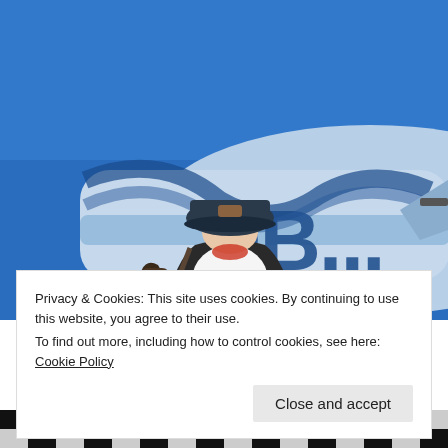[Figure (photo): Person wearing a dark snapback cap with a brown leather patch and a white shirt, carrying a dark backpack, standing close to a blue and white airplane fuselage with partial lettering visible, under a bright blue sky. Viewed from behind.]
Privacy & Cookies: This site uses cookies. By continuing to use this website, you agree to their use.
To find out more, including how to control cookies, see here: Cookie Policy
[Figure (photo): Partial view of a black and white checkered pattern at the bottom of the page.]